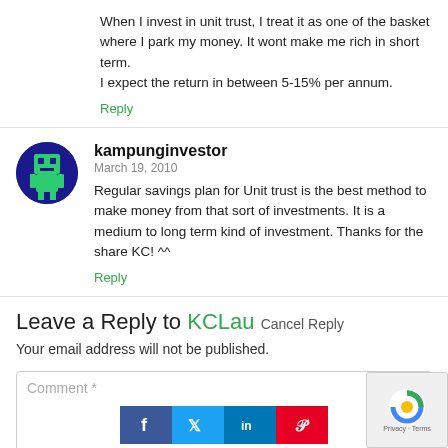When I invest in unit trust, I treat it as one of the basket where I park my money. It wont make me rich in short term.
I expect the return in between 5-15% per annum.
Reply
kampunginvestor
March 19, 2010
Regular savings plan for Unit trust is the best method to make money from that sort of investments. It is a medium to long term kind of investment. Thanks for the share KC! ^^
Reply
Leave a Reply to KCLau Cancel Reply
Your email address will not be published.
Comment *
[Figure (infographic): Social sharing buttons: Facebook, Twitter, LinkedIn, Pinterest]